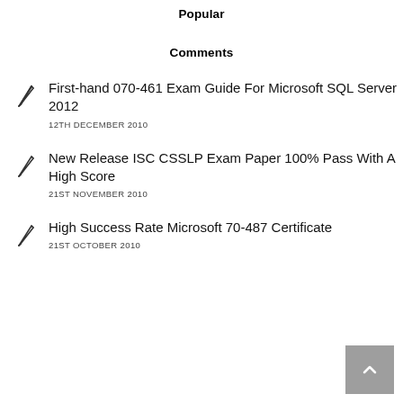Popular
Comments
First-hand 070-461 Exam Guide For Microsoft SQL Server 2012
12TH DECEMBER 2010
New Release ISC CSSLP Exam Paper 100% Pass With A High Score
21ST NOVEMBER 2010
High Success Rate Microsoft 70-487 Certificate
21ST OCTOBER 2010